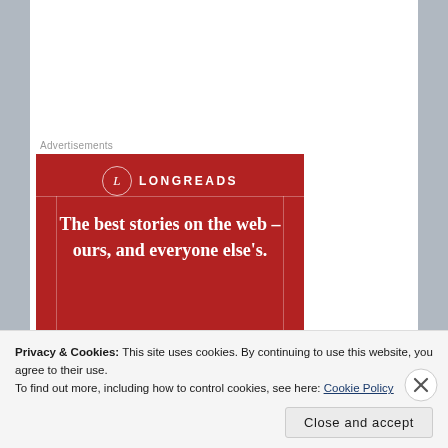Advertisements
[Figure (illustration): Longreads advertisement banner on red background. Features the Longreads logo (circle with 'L') at top, followed by tagline text: 'The best stories on the web – ours, and everyone else's.' with a dark subscribe button at the bottom.]
In reflecting with another group of online students
Privacy & Cookies: This site uses cookies. By continuing to use this website, you agree to their use.
To find out more, including how to control cookies, see here: Cookie Policy
Close and accept